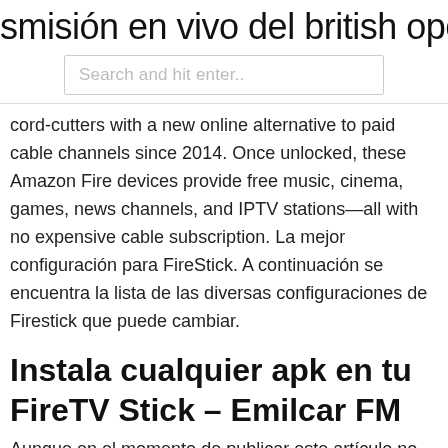smisión en vivo del british open golf
Search and hit enter..
cord-cutters with a new online alternative to paid cable channels since 2014. Once unlocked, these Amazon Fire devices provide free music, cinema, games, news channels, and IPTV stations—all with no expensive cable subscription. La mejor configuración para FireStick. A continuación se encuentra la lista de las diversas configuraciones de Firestick que puede cambiar.
Instala cualquier apk en tu FireTV Stick – Emilcar FM
Aunque en el momento de publicar este artículo no tenemos la hoja completa de especificaciones técnicas, Amazon nos asegura que, de los dos nuevos Fire TV, es el modelo con Amazon Fire TV Stick 4K Ultra HD con mando por voz Alexa Pero lo que más ha influido en esto es la independencia que tiene el Fire Stick con respecto a los mejores DNS Fire Stick TV Firestick Godd's: Fully Loaded 2nd Generation Firestick